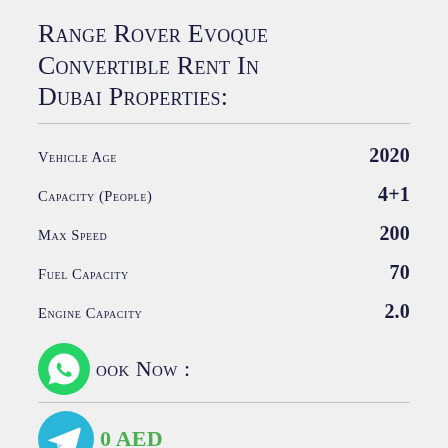Range Rover Evoque Convertible Rent In Dubai Properties:
| Property | Value |
| --- | --- |
| Vehicle Age | 2020 |
| Capacity (People) | 4+1 |
| Max Speed | 200 |
| Fuel Capacity | 70 |
| Engine Capacity | 2.0 |
Book Now :
0 AED
Pick Up Location